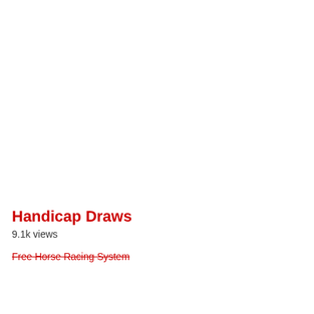Handicap Draws
9.1k views
Free Horse Racing System